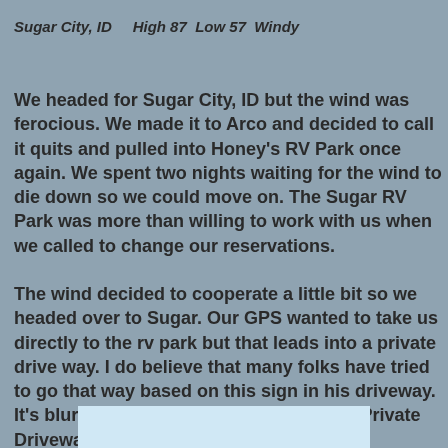Sugar City, ID    High 87  Low 57  Windy
We headed for Sugar City, ID but the wind was ferocious. We made it to Arco and decided to call it quits and pulled into Honey's RV Park once again. We spent two nights waiting for the wind to die down so we could move on. The Sugar RV Park was more than willing to work with us when we called to change our reservations.
The wind decided to cooperate a little bit so we headed over to Sugar. Our GPS wanted to take us directly to the rv park but that leads into a private drive way. I do believe that many folks have tried to go that way based on this sign in his driveway. It's blurry but it says - Private Property - Private Driveway - Keep Out.
[Figure (photo): A partially visible image at the bottom of the page, light blue/white rectangle area visible]